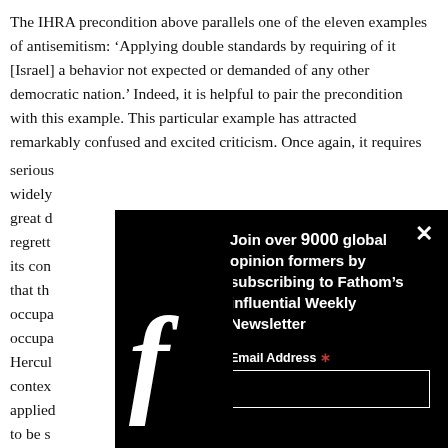The IHRA precondition above parallels one of the eleven examples of antisemitism: ‘Applying double standards by requiring of it [Israel] a behavior not expected or demanded of any other democratic nation.’ Indeed, it is helpful to pair the precondition with this example. This particular example has attracted remarkably confused and excited criticism. Once again, it requires serious [...]
[Figure (screenshot): A black modal popup overlay showing a Facebook newsletter subscription prompt. The modal contains a large white Facebook 'f' logo on the left, text reading 'Join over 9000 global opinion formers by subscribing to Fathom’s influential Weekly Newsletter', an Email Address field with a red asterisk, and a text input box. A white X close button appears at the top right of the modal.]